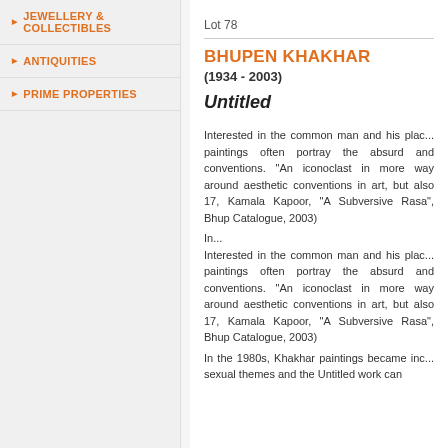JEWELLERY & COLLECTIBLES
ANTIQUITIES
PRIME PROPERTIES
Lot 78
BHUPEN KHAKHAR
(1934 - 2003)
Untitled
Interested in the common man and his plac... paintings often portray the absurd and conventions. "An iconoclast in more way around aesthetic conventions in art, but also 17, Kamala Kapoor, "A Subversive Rasa", Bhup Catalogue, 2003)
In...
Interested in the common man and his plac... paintings often portray the absurd and conventions. "An iconoclast in more way around aesthetic conventions in art, but also 17, Kamala Kapoor, "A Subversive Rasa", Bhup Catalogue, 2003)
In the 1980s, Khakhar paintings became inc... sexual themes and the Untitled work can